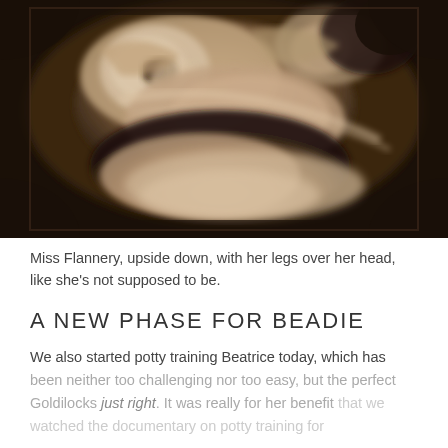[Figure (photo): Ultrasound image showing a fetus (Miss Flannery) in an upside-down position with legs over her head, presented in sepia/grayscale tones.]
Miss Flannery, upside down, with her legs over her head, like she's not supposed to be.
A NEW PHASE FOR BEADIE
We also started potty training Beatrice today, which has been neither too challenging nor too easy, but the perfect Goldilocks just right. It was really for her benefit that we watched the documentary on potty training for